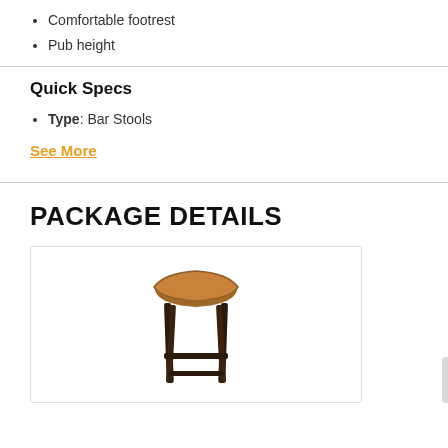Comfortable footrest
Pub height
Quick Specs
Type: Bar Stools
See More
PACKAGE DETAILS
[Figure (photo): A wooden bar stool with a saddle-shaped seat in light brown/tan wood and dark espresso-colored legs, shown against a white background inside a bordered image box.]